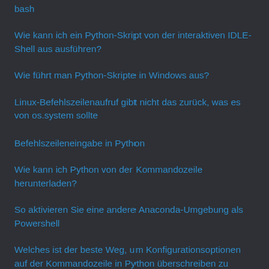bash
Wie kann ich ein Python-Skript von der interaktiven IDLE-Shell aus ausführen?
Wie führt man Python-Skripte in Windows aus?
Linux-Befehlszeilenaufruf gibt nicht das zurück, was es von os.system sollte
Befehlszeileneingabe in Python
Wie kann ich Python von der Kommandozeile herunterladen?
So aktivieren Sie eine andere Anaconda-Umgebung als Powershell
Welches ist der beste Weg, um Konfigurationsoptionen auf der Kommandozeile in Python überschreiben zu lassen?